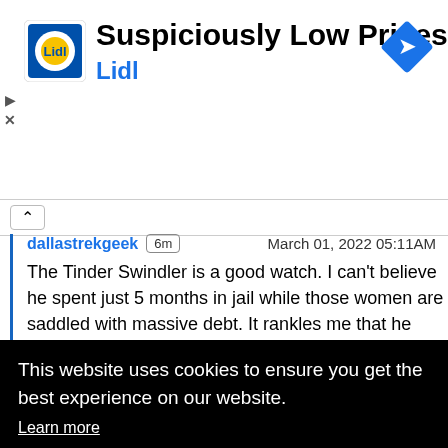[Figure (screenshot): Lidl advertisement banner with Lidl logo, title 'Suspiciously Low Prices', subtitle 'Lidl', play icon, X icon, and blue navigation diamond icon]
dallastrekgeek  6m  March 01, 2022 05:11AM
The Tinder Swindler is a good watch. I can't believe he spent just 5 months in jail while those women are saddled with massive debt. It rankles me that he ruined so many lives and got to walk away. Maybe a [...]ne
This website uses cookies to ensure you get the best experience on our website.
Learn more
Got it!
38PM
Just found Aftertaste. At first, I though an alternative